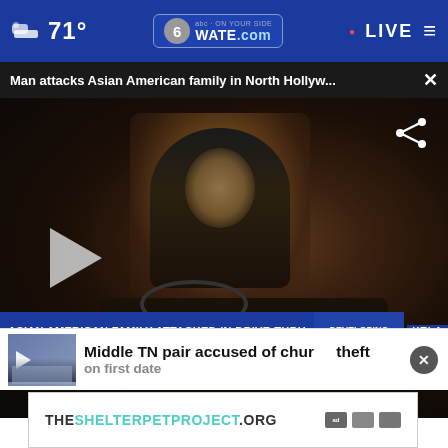71° WATE.com LIVE
Man attacks Asian American family in North Hollyw... ×
[Figure (screenshot): Video screenshot of a man appearing agitated inside a car, from KTLA news footage. Lower third graphic reads: ASIAN AMERICAN FAMILY ATTACKED IN DRIVE-THRU NORTH HOLLYWOOD. DEVELOPING NEWS. KTLA 75 YEARS. Weather ticker at bottom with temperatures.]
Middle TN pair accused of church theft on first date
THESHELTERPETPROJECT.ORG